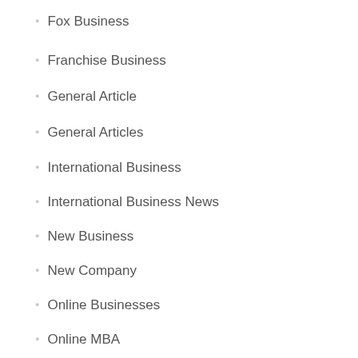Fox Business
Franchise Business
General Article
General Articles
International Business
International Business News
New Business
New Company
Online Businesses
Online MBA
Recent Business Articles
Uncategorized